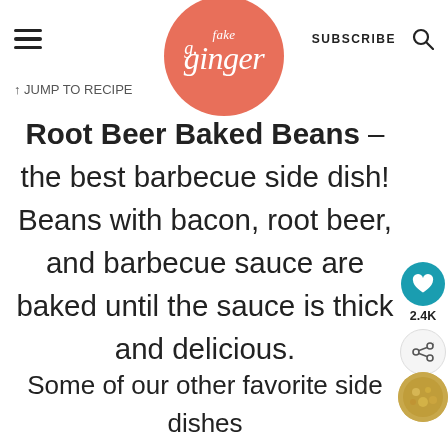fake ginger — SUBSCRIBE
↑ JUMP TO RECIPE
Root Beer Baked Beans – the best barbecue side dish! Beans with bacon, root beer, and barbecue sauce are baked until the sauce is thick and delicious.
Some of our other favorite side dishes